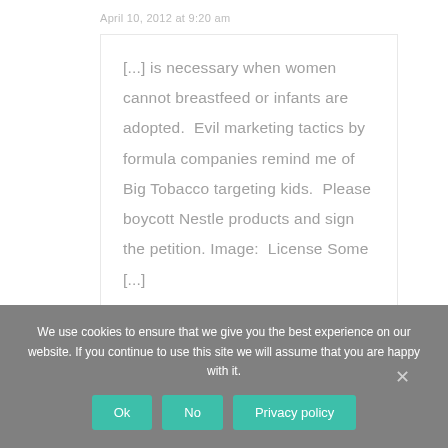April 10, 2012 at 9:20 am
[...] is necessary when women cannot breastfeed or infants are adopted.  Evil marketing tactics by formula companies remind me of Big Tobacco targeting kids.  Please boycott Nestle products and sign the petition. Image:  License Some [...]
We use cookies to ensure that we give you the best experience on our website. If you continue to use this site we will assume that you are happy with it.
Ok
No
Privacy policy